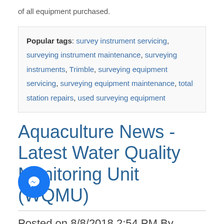of all equipment purchased.
Popular tags: survey instrument servicing, surveying instrument maintenance, surveying instruments, Trimble, surveying equipment servicing, surveying equipment maintenance, total station repairs, used surveying equipment
Aquaculture News - Latest Water Quality Monitoring Unit (WQMU)
Posted on 8/8/2018 2:54 PM By Geoff Ogden
This new, highly ergonomic water quality testing system is designed and manufactured in South Africa, market ready in August 2018. It is